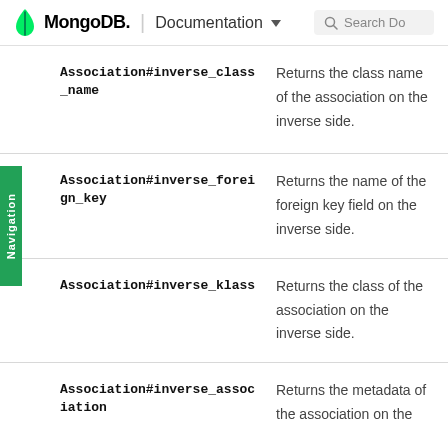MongoDB. | Documentation  Search Do
| Method | Description |
| --- | --- |
| Association#inverse_class_name | Returns the class name of the association on the inverse side. |
| Association#inverse_foreign_key | Returns the name of the foreign key field on the inverse side. |
| Association#inverse_klass | Returns the class of the association on the inverse side. |
| Association#inverse_association | Returns the metadata of the association on the |